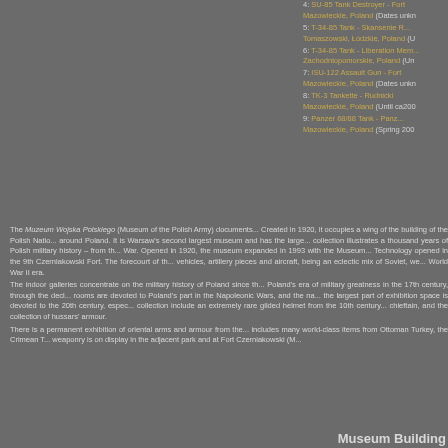4: SU-85 Tank Destroyer - Fort Mazowieckie, Poland (Dates unkn...
5: T-34-85 Tank - Skansenie R... Tomaszowski, Łódzkie, Poland (U...
6: T-34-85 Tank - Liberation Mem... Zachodniopomorskie, Poland (Un...
7: ISU-122 Assault Gun - Fort Mazowieckie, Poland (Dates unkn...
8: TK-3 Tankette - Rudnicki Mazowieckie, Poland (Until ca200...
9: Panzer 68/88 Tank - Panz... Mazowieckie, Poland (Spring 200...
The Muzeum Wojska Polskiego (Museum of the Polish Army) documents... Created in 1920, it occupies a wing of the building of the Polish Natio... around Poland. It is Warsaw's second largest museum and has the large... collection illustrates a thousand years of Polish military history – from th... War. Opened in 1920, the museum expanded in 1993 with the Museum... Technology opened in the 9th Czerniakowski Fort. The forecourt of th... vehicles, artillery pieces and aircraft, being an eclectic mix of Soviet, we... World War II era. The indoor galleries concentrate on the military history of Poland since th... Poland's era of military greatness in the 17th century, through the decl... rooms are devoted to Poland's part in the Napoleonic Wars, and the na... the largest part of exhibition space is devoted to the 20th century, espec... collection include an extremely rare gilded helmet from the 10th century... chieftain, and the collection of hussars' armour. There is a permanent exhibition of oriental arms and armour from the... includes many world-class items from Ottoman Turkey, the Crimean T... weaponry is on display in the adjacent park and at Fort Czerniakowski (M...
Museum Building